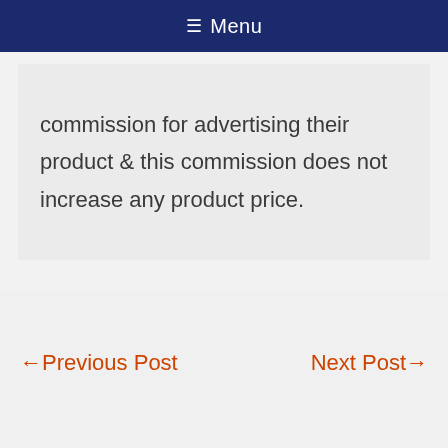≡ Menu
commission for advertising their product & this commission does not increase any product price.
← Previous Post
Next Post →